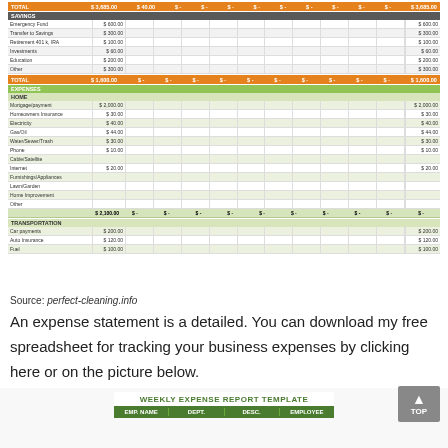[Figure (screenshot): Spreadsheet screenshot showing income, savings, and expenses sections with amounts in blue/orange/green color scheme. Sections include INCOME (Salary/Wages, Interest Income, Dividends, Refunds/Reimbursements, Business, Pension, Other), SAVINGS (Emergency Fund, Transfer to Savings, Retirement 401k/IRA, Investments, Education, Other), and EXPENSES with HOME (Mortgage/payment, Homeowners Insurance, Electricity, Gas/Oil, Water/Sewer/Trash, Phone, Cable/Satellite, Internet, Furnishings/Appliances, Lawn/Garden, Home Improvement, Other) and TRANSPORTATION (Car payments, Auto Insurance, Fuel) subsections.]
Source: perfect-cleaning.info
An expense statement is a detailed. You can download my free spreadsheet for tracking your business expenses by clicking here or on the picture below.
[Figure (screenshot): Weekly Expense Report Template with green header showing columns: EMP. NAME, DEPT., DESC., EMPLOYEE]